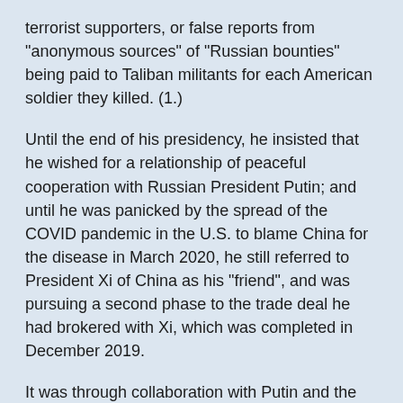terrorist supporters, or false reports from "anonymous sources" of "Russian bounties" being paid to Taliban militants for each American soldier they killed. (1.)
Until the end of his presidency, he insisted that he wished for a relationship of peaceful cooperation with Russian President Putin; and until he was panicked by the spread of the COVID pandemic in the U.S. to blame China for the disease in March 2020, he still referred to President Xi of China as his "friend", and was pursuing a second phase to the trade deal he had brokered with Xi, which was completed in December 2019.
It was through collaboration with Putin and the Russian military in Syria that the "Islamic Caliphate" was toppled, and work with both Putin and Xi led to dramatic progress with North Korea -- until it was